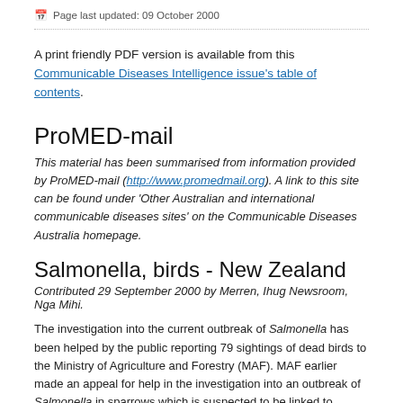Page last updated: 09 October 2000
A print friendly PDF version is available from this Communicable Diseases Intelligence issue's table of contents.
ProMED-mail
This material has been summarised from information provided by ProMED-mail (http://www.promedmail.org). A link to this site can be found under 'Other Australian and international communicable diseases sites' on the Communicable Diseases Australia homepage.
Salmonella, birds - New Zealand
Contributed 29 September 2000 by Merren, Ihug Newsroom, Nga Mihi.
The investigation into the current outbreak of Salmonella has been helped by the public reporting 79 sightings of dead birds to the Ministry of Agriculture and Forestry (MAF). MAF earlier made an appeal for help in the investigation into an outbreak of Salmonella in sparrows which is suspected to be linked to